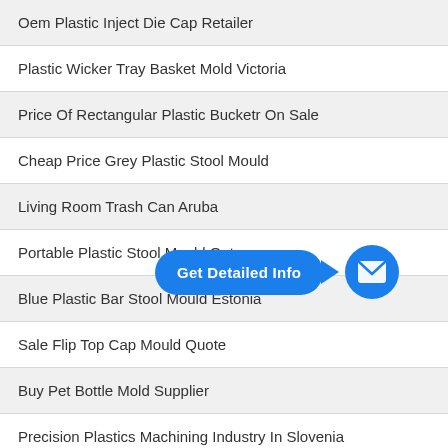Oem Plastic Inject Die Cap Retailer
Plastic Wicker Tray Basket Mold Victoria
Price Of Rectangular Plastic Bucketr On Sale
Cheap Price Grey Plastic Stool Mould
Living Room Trash Can Aruba
Portable Plastic Stool Mould Qatar
Blue Plastic Bar Stool Mould Estonia
Sale Flip Top Cap Mould Quote
Buy Pet Bottle Mold Supplier
Precision Plastics Machining Industry In Slovenia
[Figure (other): Blue 'Get Detailed Info' call-to-action button with arrow pointing to a blue circular email icon]